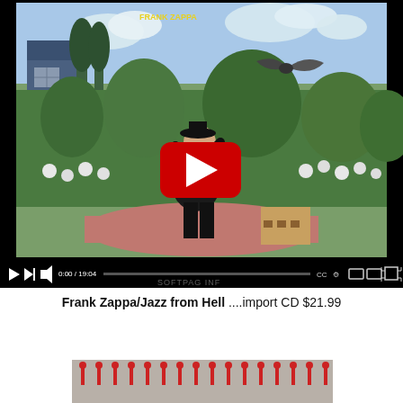[Figure (screenshot): YouTube video player showing album artwork for Frank Zappa's Jazz from Hell. The artwork depicts a painting of a man in black suit looking upward at a bird in flight, surrounded by a lush green garden with white flowers. A red YouTube play button is overlaid in the center. Below the artwork is a YouTube video controls bar showing play button, next button, volume icon, timestamp '0:00 / 19:04', and other controls.]
Frank Zappa/Jazz from Hell ....import CD $21.99
[Figure (other): Bottom partial strip showing what appears to be a row of small red icons or thumbnails on a gray background, partially cut off at the bottom of the page.]